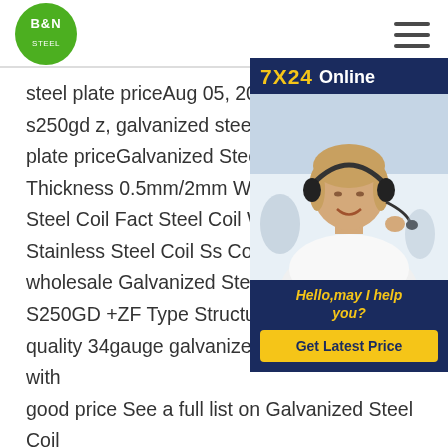B&N logo and navigation header
[Figure (other): Chat widget with 7X24 Online banner, customer service representative photo, greeting 'Hello,may I help you?' and 'Get Latest Price' button]
steel plate priceAug 05, 2021 galvanized s250gd z, galvanized steel coil s250gd plate priceGalvanized Steel Coil Hot D Thickness 0.5mm/2mm Width 1m/1.2m Steel Coil Fact Steel Coil Wuxi Manufa Stainless Steel Coil Ss Coil Price Facto wholesale Galvanized Steel Coil S350 S250GD +ZF Type Structural Competitive High quality 34gauge galvanized steel coil s250gd with good price See a full list on Galvanized Steel Coil (S350GD+Z S250GD+ZF) Type s250gd z quote steel plate priceBuy Galvanized Steel Coil (S350GD+Z S250GD+ZF) Typo Structural Steel, Find Details